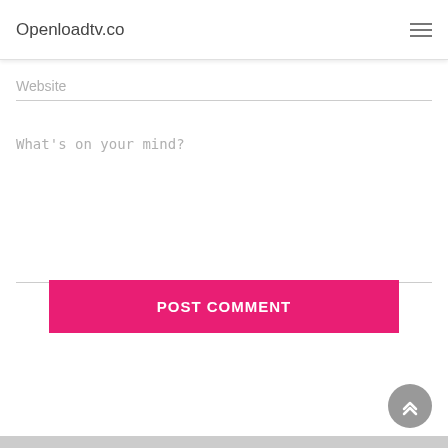Openloadtv.co
Website
What's on your mind?
POST COMMENT